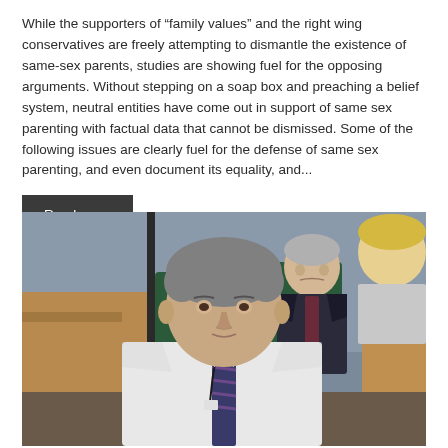While the supporters of "family values" and the right wing conservatives are freely attempting to dismantle the existence of same-sex parents, studies are showing fuel for the opposing arguments. Without stepping on a soap box and preaching a belief system, neutral entities have come out in support of same sex parenting with factual data that cannot be dismissed. Some of the following issues are clearly fuel for the defense of same sex parenting, and even document its equality, and...
Read more
[Figure (photo): A man in a white shirt and tie speaking at what appears to be a parliamentary committee hearing. An older man in a dark suit is visible behind him. Green leather chairs are visible in the background, suggesting a formal government setting.]